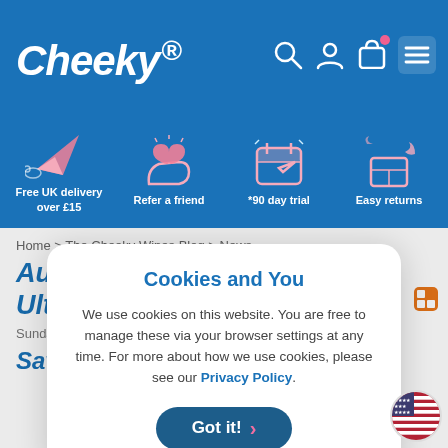Cheeky. [nav icons: search, account, bag, menu]
[Figure (infographic): Blue benefits strip with four icons and labels: Free UK delivery over £15, Refer a friend, *90 day trial, Easy returns]
Home > The Cheeky Wines Blog > News
Aug... on Ult...
Sunday...
Sav...
[Figure (infographic): Cookie consent modal dialog with title 'Cookies and You', body text about cookie usage and Privacy Policy link, and a 'Got it!' button]
Cookies and You

We use cookies on this website. You are free to manage these via your browser settings at any time. For more about how we use cookies, please see our Privacy Policy.

Got it!